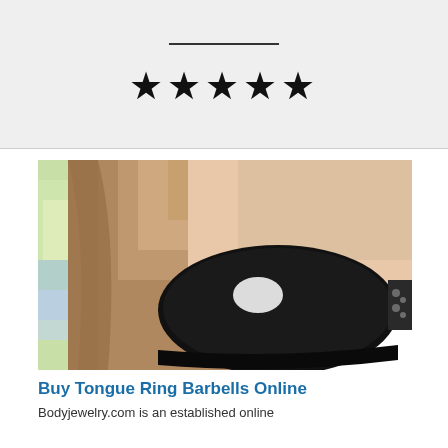[Figure (other): Decorative underline bar above star rating]
★★★★★
[Figure (photo): Close-up photo of a woman wearing large black sunglasses with floral embellishments on the frame, brown hair visible, iridescent background on the left]
Buy Tongue Ring Barbells Online
Bodyjewelry.com is an established online